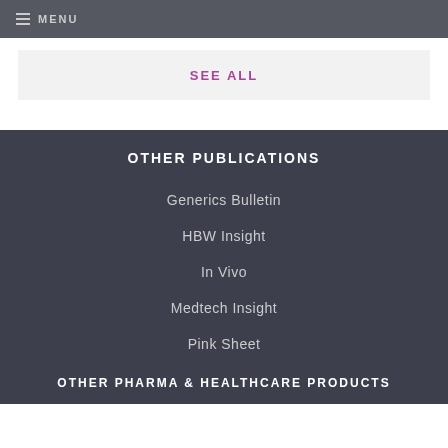MENU
SEE ALL
OTHER PUBLICATIONS
Generics Bulletin
HBW Insight
In Vivo
Medtech Insight
Pink Sheet
OTHER PHARMA & HEALTHCARE PRODUCTS